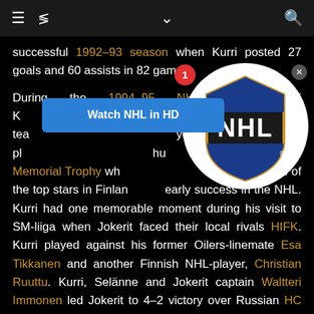≡  < [menu icons]  ∨  [search icon]
successful 1992–93 season when Kurri posted 27 goals and 60 assists in 82 games.
During the 1994–95 NHL lockout Jari Kurri joined Jokerit, the team he had played for years before his NHL career. Kurri played alongside Teemu Selänne, the future winner of the Calder Memorial Trophy who had established himself as one of the top stars in Finland during his early success in the NHL. Kurri had one memorable moment during his visit to SM-liiga when Jokerit faced their local rivals HIFK. Kurri played against his former Oilers-linemate Esa Tikkanen and another Finnish NHL-player, Christian Ruuttu. Kurri, Selänne and Jokerit captain Waltteri Immonen led Jokerit to 4–2 victory over Russian HC Lada Togliatti in 1994 European Cup Finals.
After the lockout Kurri returned to Los Angeles, but was